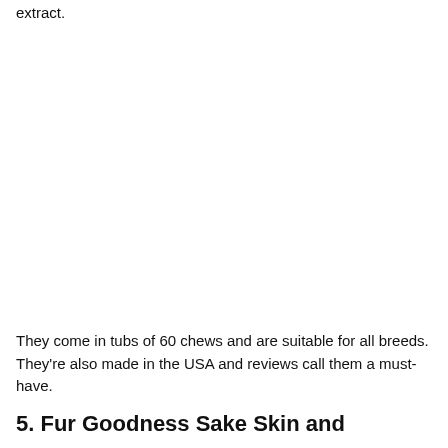extract.
They come in tubs of 60 chews and are suitable for all breeds. They're also made in the USA and reviews call them a must-have.
5. Fur Goodness Sake Skin and